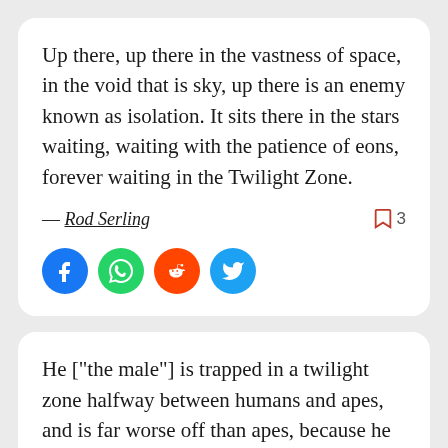Up there, up there in the vastness of space, in the void that is sky, up there is an enemy known as isolation. It sits there in the stars waiting, waiting with the patience of eons, forever waiting in the Twilight Zone.
— Rod Serling  3
[Figure (other): Four social share buttons: Facebook (blue circle), WhatsApp (green circle), Reddit (orange circle), Twitter (blue circle)]
He ["the male"] is trapped in a twilight zone halfway between humans and apes, and is far worse off than apes, because he is, first of all, capable of a large array of negative feelings that the apes aren't - hate, jealousy, contempt,